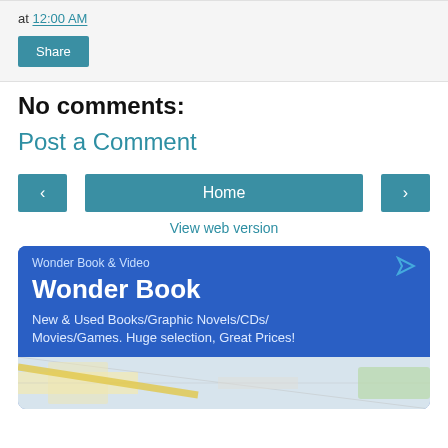at 12:00 AM
Share
No comments:
Post a Comment
‹  Home  ›
View web version
[Figure (screenshot): Advertisement for Wonder Book & Video showing 'Wonder Book' title and description: New & Used Books/Graphic Novels/CDs/Movies/Games. Huge selection, Great Prices! with a map thumbnail below.]